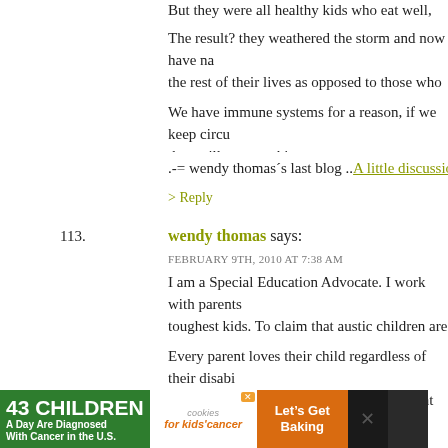But they were all healthy kids who eat well, exercise an...
The result? they weathered the storm and now have na... the rest of their lives as opposed to those who had the ... need to get a new one for the mutated virus that is exp...
We have immune systems for a reason, if we keep circu... they will stop working.
.-= wendy thomas´s last blog ..A little discussion on Che...
> Reply
113.
wendy thomas says:
FEBRUARY 9TH, 2010 AT 7:38 AM
I am a Special Education Advocate. I work with parents... toughest kids. To claim that austic children are smiply "d... whom the parents would not want to change is ridiculo...
Every parent loves their child regardless of their disabi... that those parents don't go to bed each night with the t... is denying a sharp and persistant heart agony that will n... .-= wendy thomas´s last blog ..A little discussion on Che...
[Figure (infographic): Advertisement banner: '43 Children A Day Are Diagnosed With Cancer in the U.S.' with cookies for kids cancer and Let's Get Baking logos]